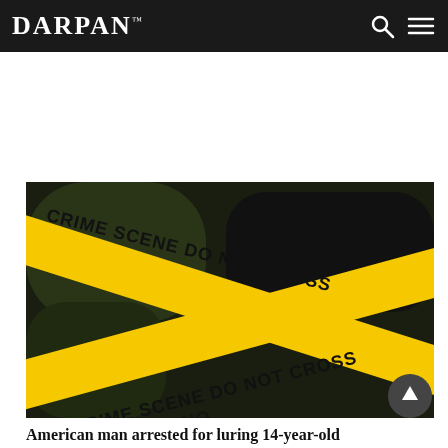DARPAN™
[Figure (photo): Yellow crime scene tape crossing diagonally reading 'CRIME SCENE DO NOT CROSS' on a dark background]
American man arrested for luring 14-year-old